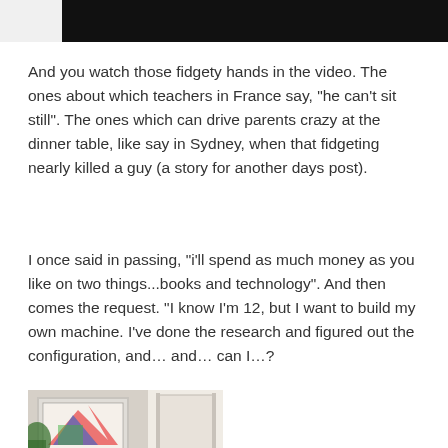[Figure (photo): Dark/black banner image at the top of the page, partially cropped]
And you watch those fidgety hands in the video. The ones about which teachers in France say, "he can't sit still". The ones which can drive parents crazy at the dinner table, like say in Sydney, when that fidgeting nearly killed a guy (a story for another days post).
I once said in passing, "i'll spend as much money as you like on two things...books and technology". And then comes the request. "I know I'm 12, but I want to build my own machine. I've done the research and figured out the configuration, and... and... can I...?
[Figure (photo): Partial photo of a room interior with a framed artwork and doorway visible, cropped at bottom of page]